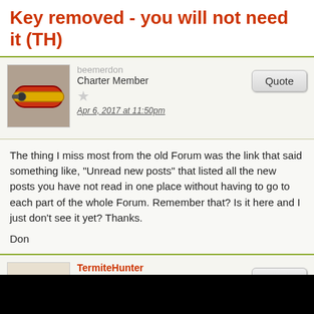Key removed - you will not need it (TH)
beemerdon
Charter Member
Apr 6, 2017 at 11:50pm
The thing I miss most from the old Forum was the link that said something like, "Unread new posts" that listed all the new posts you have not read in one place without having to go to each part of the whole Forum. Remember that? Is it here and I just don't see it yet? Thanks.

Don
TermiteHunter
Administrator Lackey
Apr 7, 2017 at 1:57am
beemerdon said: